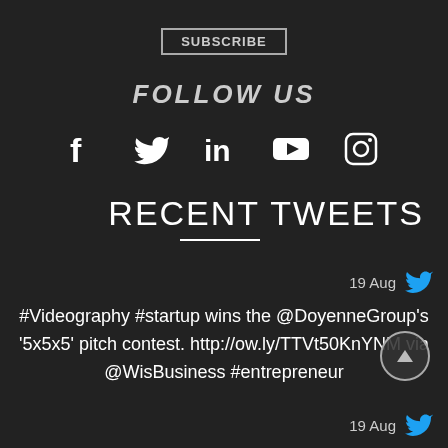SUBSCRIBE
FOLLOW US
[Figure (infographic): Social media icons: Facebook, Twitter, LinkedIn, YouTube, Instagram]
RECENT TWEETS
19 Aug
#Videography #startup wins the @DoyenneGroup's '5x5x5' pitch contest. http://ow.ly/TTVt50KnYNM via @WisBusiness #entrepreneur
19 Aug